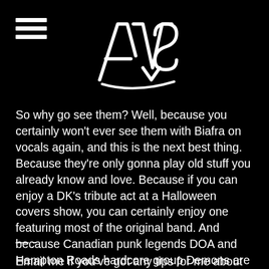AVS logo and hamburger menu
So why go see them? Well, because you certainly won't ever see them with Biafra on vocals again, and this is the next best thing. Because they're only gonna play old stuff you already know and love. Because if you can enjoy a DK's tribute act at a Halloween covers show, you can certainly enjoy one featuring most of the original band. And because Canadian punk legends DOA and Hampton Roads hardcore group Demons are both on the bill as well. The cumulative whole of what this show has to offer is worth appreciating, even if it doesn't feature Jello Biafra behind the microphone. So enjoy it, and don't worry too much about the provenance.
— -
Email me if you've got any tips for me about upcoming